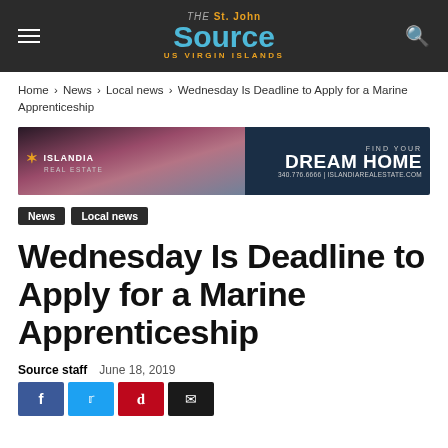The St. John Source US VIRGIN ISLANDS
Home › News › Local news › Wednesday Is Deadline to Apply for a Marine Apprenticeship
[Figure (other): Islandia Real Estate advertisement banner showing 'Find Your Dream Home' with contact info 340.776.6666 | ISLANDIAREALESTATE.COM]
News
Local news
Wednesday Is Deadline to Apply for a Marine Apprenticeship
Source staff   June 18, 2019